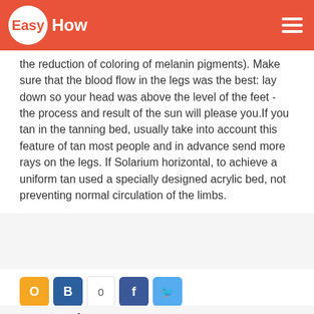EasyHow
...the reduction of coloring of melanin pigments). Make sure that the blood flow in the legs was the best: lay down so your head was above the level of the feet - the process and result of the sun will please you.If you tan in the tanning bed, usually take into account this feature of tan most people and in advance send more rays on the legs. If Solarium horizontal, to achieve a uniform tan used a specially designed acrylic bed, not preventing normal circulation of the limbs.
[Figure (infographic): Social share buttons: Odnoklassniki (orange), VKontakte (blue), share count 0, Facebook (blue), Twitter (light blue)]
See also
How to whip butter